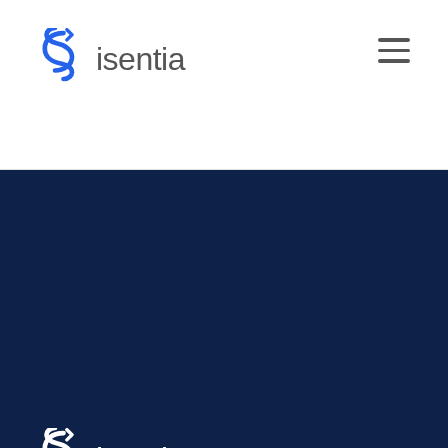[Figure (logo): Isentia logo in header — blue S-curl symbol followed by 'isentia' text in gray]
[Figure (logo): Isentia logo in footer — white S-curl symbol followed by 'isentia' text in white]
Copyright © Isentia. All rights reserved. Privacy | Terms
[Figure (other): Download on the App Store badge]
[Figure (other): Android App on Google Play badge]